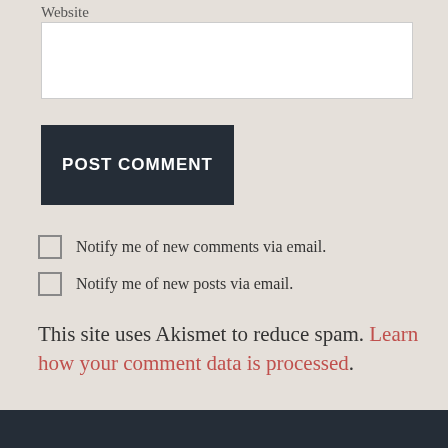Website
POST COMMENT
Notify me of new comments via email.
Notify me of new posts via email.
This site uses Akismet to reduce spam. Learn how your comment data is processed.